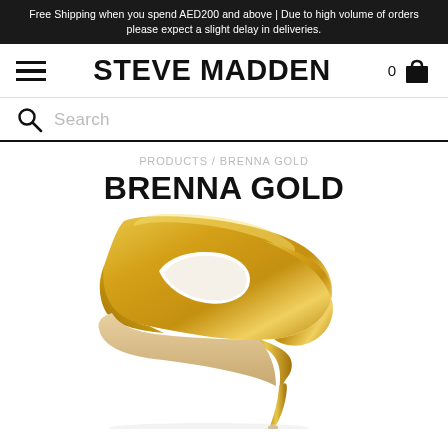Free Shipping when you spend AED200 and above | Due to high volume of orders please expect a slight delay in deliveries.
STEVE MADDEN
Search
PRODUCTS / BRENNA GOLD
BRENNA GOLD
[Figure (photo): Close-up photograph of a gold metallic high-heel pump shoe (Brenna Gold) by Steve Madden, showing the side profile with an open toe area and stiletto heel on a white background.]